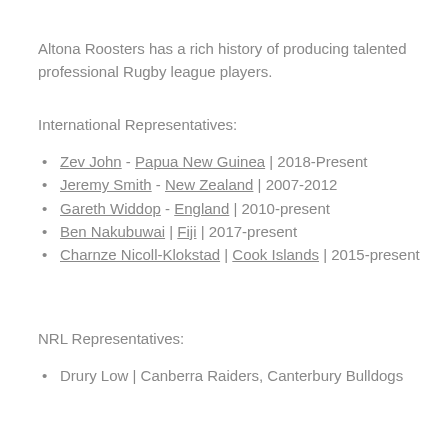Altona Roosters has a rich history of producing talented professional Rugby league players.
International Representatives:
Zev John - Papua New Guinea | 2018-Present
Jeremy Smith - New Zealand | 2007-2012
Gareth Widdop - England | 2010-present
Ben Nakubuwai | Fiji | 2017-present
Charnze Nicoll-Klokstad | Cook Islands | 2015-present
NRL Representatives:
Drury Low | Canberra Raiders, Canterbury Bulldogs